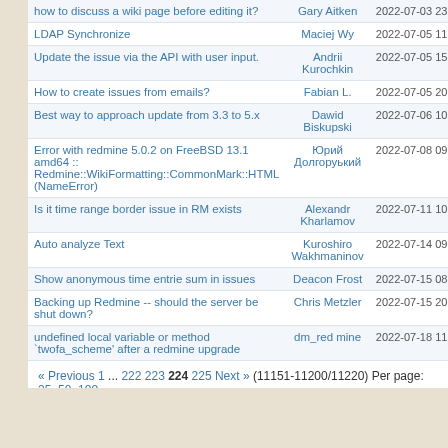| Subject | Author | Date |
| --- | --- | --- |
| how to discuss a wiki page before editing it? | Gary Aitken | 2022-07-03 23:50 |
| LDAP Synchronize | Maciej Wy | 2022-07-05 11:16 |
| Update the issue via the API with user input. | Andrii Kurochkin | 2022-07-05 15:56 |
| How to create issues from emails? | Fabian L. | 2022-07-05 20:10 |
| Best way to approach update from 3.3 to 5.x | Dawid Biskupski | 2022-07-06 10:00 |
| Error with redmine 5.0.2 on FreeBSD 13.1 amd64 :: Redmine::WikiFormatting::CommonMark::HTML (NameError) | Юрий Долгоруький | 2022-07-08 09:26 |
| Is it time range border issue in RM exists | Alexandr Kharlamov | 2022-07-11 10:11 |
| Auto analyze Text | Kuroshiro Wakhmaninov | 2022-07-14 09:30 |
| Show anonymous time entrie sum in issues | Deacon Frost | 2022-07-15 08:58 |
| Backing up Redmine -- should the server be shut down? | Chris Metzler | 2022-07-15 20:01 |
| undefined local variable or method `twofa_scheme' after a redmine upgrade | dm_red mine | 2022-07-18 11:30 |
« Previous 1 ... 222 223 224 225 Next » (11151-11200/11220) Per page: 25, 50, 100